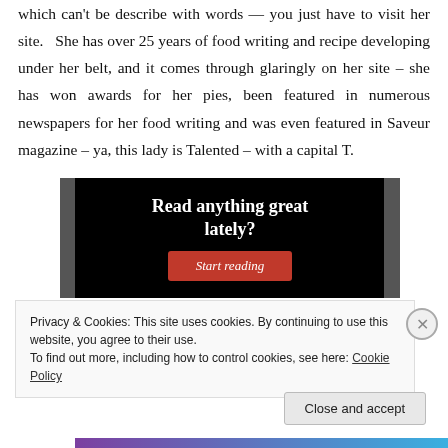which can't be describe with words — you just have to visit her site. She has over 25 years of food writing and recipe developing under her belt, and it comes through glaringly on her site – she has won awards for her pies, been featured in numerous newspapers for her food writing and was even featured in Saveur magazine – ya, this lady is Talented – with a capital T.
[Figure (other): Advertisement banner with black background reading 'Read anything great lately?' with a red 'Start reading' button]
Privacy & Cookies: This site uses cookies. By continuing to use this website, you agree to their use.
To find out more, including how to control cookies, see here: Cookie Policy
Close and accept